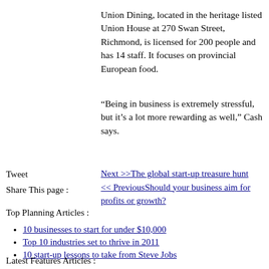Union Dining, located in the heritage listed Union House at 270 Swan Street, Richmond, is licensed for 200 people and has 14 staff. It focuses on provincial European food.
“Being in business is extremely stressful, but it’s a lot more rewarding as well,” Cash says.
Tweet
Share This page :
Next >>The global start-up treasure hunt
<< PreviousShould your business aim for profits or growth?
Top Planning Articles :
10 businesses to start for under $10,000
Top 10 industries set to thrive in 2011
10 start-up lessons to take from Steve Jobs
Latest Features Articles :